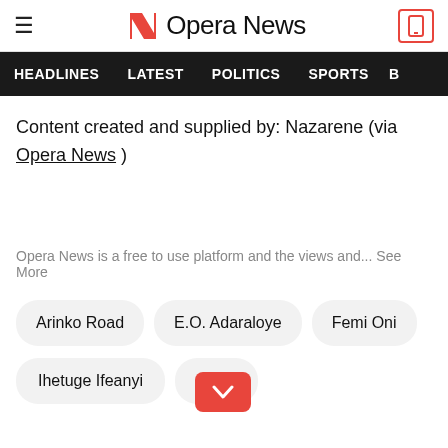Opera News — HEADLINES | LATEST | POLITICS | SPORTS
Content created and supplied by: Nazarene (via Opera News )
Opera News is a free to use platform and the views and... See More
Arinko Road
E.O. Adaraloye
Femi Oni
Ihetuge Ifeanyi
Ogun